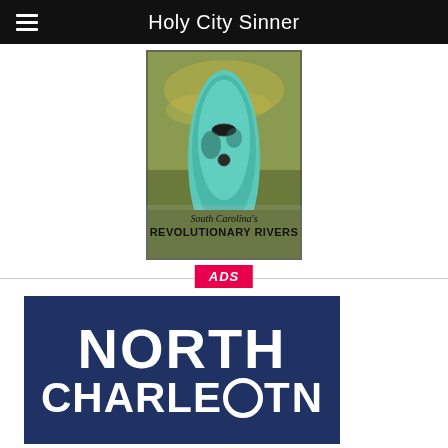Holy City Sinner
[Figure (photo): Book cover image showing a kayak/paddleboard on water with text 'South Carolina's REVOLUTIONARY RIVERS']
ADS
[Figure (logo): North Charleston logo — dark navy blue rectangle with 'NORTH CHARLESTON' text in white bold letters]